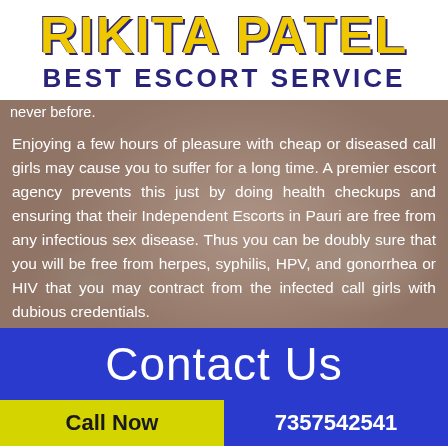RIKITA PATEL BEST ESCORT SERVICE
never before.
Enjoying a few hours of pleasure with cheap or diseased call girls may cause you to suffer for a long time. A premier escort agency prevents this just by doing health checkups and ensuring that their Independent Escorts in Pauri are free from any infectious sex disease. Thus you can be doubly sure that you will be free from herpes, syphilis, HPV, and gonorrhea or HIV that you may contract from the infected call girls with dubious credentials.
Contact Us
Call Now
7357542541